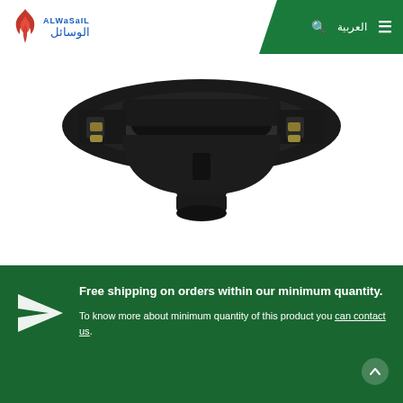[Figure (logo): Alwasail company logo with Arabic text and flame icon, on white background with green diagonal header bar containing search icon, Arabic text العربية, and hamburger menu]
[Figure (photo): Close-up photograph of a black pipe saddle clamp fitting with metal bolts and a cylindrical outlet, on white background]
[Figure (infographic): White paper airplane (send/shipping) icon on dark green background]
Free shipping on orders within our minimum quantity.
To know more about minimum quantity of this product you can contact us.